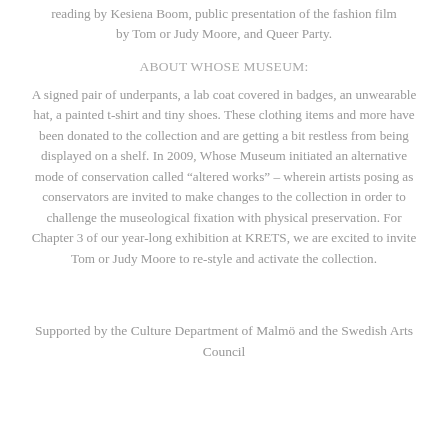reading by Kesiena Boom, public presentation of the fashion film by Tom or Judy Moore, and Queer Party.
ABOUT WHOSE MUSEUM:
A signed pair of underpants, a lab coat covered in badges, an unwearable hat, a painted t-shirt and tiny shoes. These clothing items and more have been donated to the collection and are getting a bit restless from being displayed on a shelf. In 2009, Whose Museum initiated an alternative mode of conservation called “altered works” – wherein artists posing as conservators are invited to make changes to the collection in order to challenge the museological fixation with physical preservation. For Chapter 3 of our year-long exhibition at KRETS, we are excited to invite Tom or Judy Moore to re-style and activate the collection.
Supported by the Culture Department of Malmö and the Swedish Arts Council